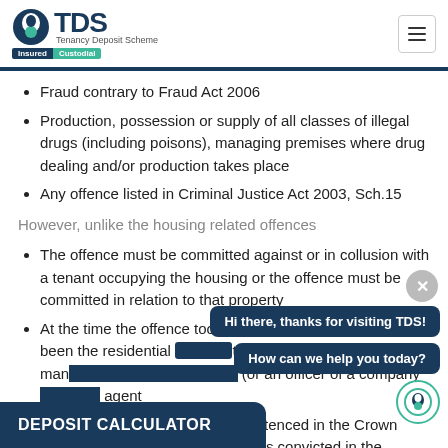TDS Tenancy Deposit Scheme Insured Custodial
Fraud contrary to Fraud Act 2006
Production, possession or supply of all classes of illegal drugs (including poisons), managing premises where drug dealing and/or production takes place
Any offence listed in Criminal Justice Act 2003, Sch.15
However, unlike the housing related offences
The offence must be committed against or in collusion with a tenant occupying the housing or the offence must be committed in relation to that property
At the time the offence took place the offender must have been the residential [landlord] or property manager managing residential property (or an officer of a company [acting as] agent
The offender must have been sentenced in the Crown (including cases where someone is convicted in the [Magistrates' court and] sent to the Crown Court for
DEPOSIT CALCULATOR